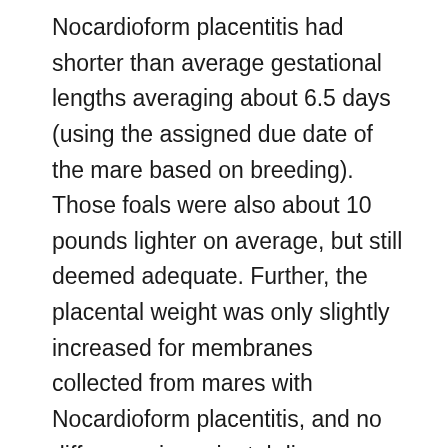Nocardioform placentitis had shorter than average gestational lengths averaging about 6.5 days (using the assigned due date of the mare based on breeding). Those foals were also about 10 pounds lighter on average, but still deemed adequate. Further, the placental weight was only slightly increased for membranes collected from mares with Nocardioform placentitis, and no difference in perinatal diseases were identified in foals or mares from normal, healthy pregnancies versus those affected by Nocardioform placentitis.
Foaling outcomes were not closely related to the presence of Nocardioform placentitis, but did